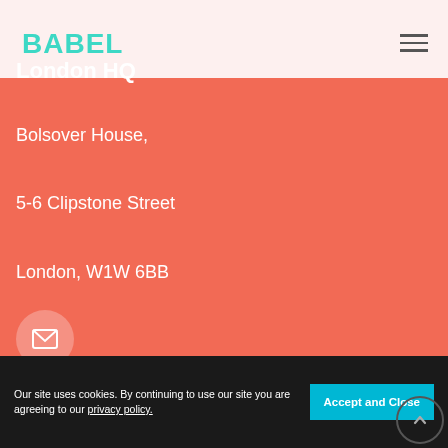BABEL
London HQ
Bolsover House,
5-6 Clipstone Street
London, W1W 6BB
[Figure (illustration): Email envelope icon inside a circular salmon/coral button]
Our site uses cookies. By continuing to use our site you are agreeing to our privacy policy.